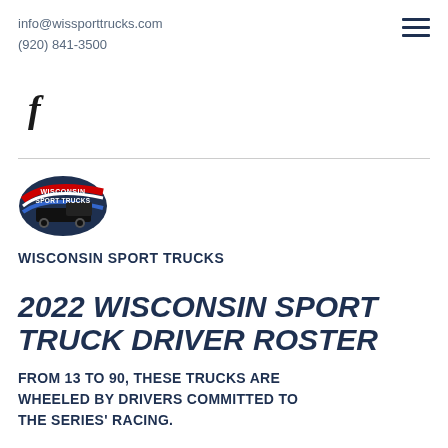info@wissporttrucks.com
(920) 841-3500
[Figure (logo): Wisconsin Sport Trucks logo with truck silhouette on oval background with red and blue swoosh stripes]
WISCONSIN SPORT TRUCKS
2022 WISCONSIN SPORT TRUCK DRIVER ROSTER
FROM 13 TO 90, THESE TRUCKS ARE WHEELED BY DRIVERS COMMITTED TO THE SERIES' RACING.